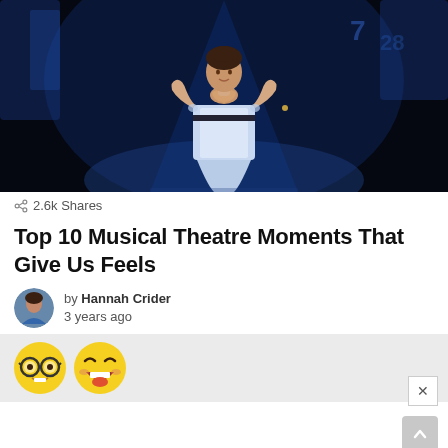[Figure (photo): A performer on stage in a light blue dress with apron, hands clasped at chest, lit by stage lighting against a dark background.]
2.6k Shares
Top 10 Musical Theatre Moments That Give Us Feels
by Hannah Crider
3 years ago
[Figure (illustration): Two emoji icons: a nerd/glasses face emoji and a laughing/grinning face emoji.]